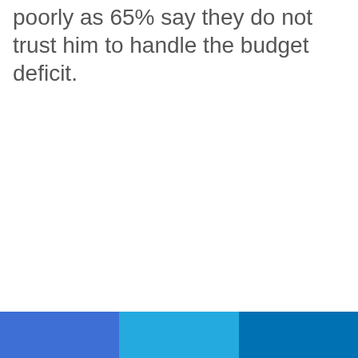poorly as 65% say they do not trust him to handle the budget deficit.
[Figure (other): Three colored horizontal bands forming a footer bar: left band is medium blue (#3d6fd4), center band is light cyan-blue (#25aadf), right band is dark navy-blue (#0071b3).]